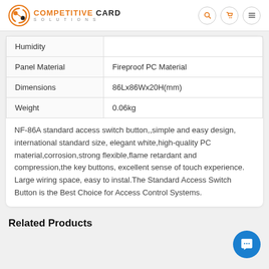Competitive Card Solutions
|  |  |
| --- | --- |
| Humidity |  |
| Panel Material | Fireproof PC Material |
| Dimensions | 86Lx86Wx20H(mm) |
| Weight | 0.06kg |
NF-86A standard access switch button,,simple and easy design, international standard size, elegant white,high-quality PC material,corrosion,strong flexible,flame retardant and compression,the key buttons, excellent sense of touch experience. Large wiring space, easy to instal.The Standard Access Switch Button is the Best Choice for Access Control Systems.
Related Products